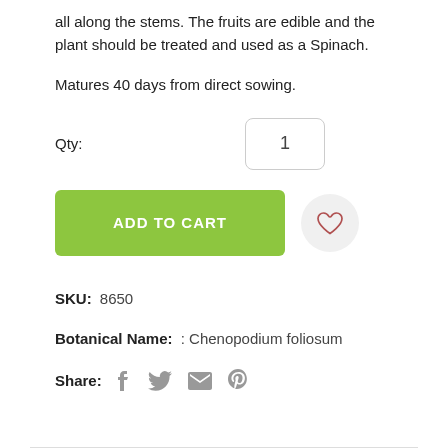all along the stems. The fruits are edible and the plant should be treated and used as a Spinach.
Matures 40 days from direct sowing.
Qty: 1
ADD TO CART
SKU:  8650
Botanical Name: :  Chenopodium foliosum
Share: